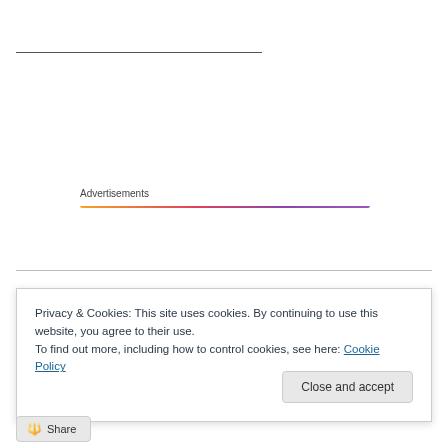[Figure (other): Horizontal rule / separator line near top of page]
Advertisements
[Figure (other): Colorful gradient advertisement bar with social media icons, spanning orange to purple]
Privacy & Cookies: This site uses cookies. By continuing to use this website, you agree to their use.
To find out more, including how to control cookies, see here: Cookie Policy
Close and accept
Share